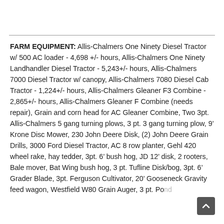FARM EQUIPMENT: Allis-Chalmers One Ninety Diesel Tractor w/ 500 AC loader - 4,698 +/- hours, Allis-Chalmers One Ninety Landhandler Diesel Tractor - 5,243+/- hours, Allis-Chalmers 7000 Diesel Tractor w/ canopy, Allis-Chalmers 7080 Diesel Cab Tractor - 1,224+/- hours, Allis-Chalmers Gleaner F3 Combine - 2,865+/- hours, Allis-Chalmers Gleaner F Combine (needs repair), Grain and corn head for AC Gleaner Combine, Two 3pt. Allis-Chalmers 5 gang turning plows, 3 pt. 3 gang turning plow, 9’ Krone Disc Mower, 230 John Deere Disk, (2) John Deere Grain Drills, 3000 Ford Diesel Tractor, AC 8 row planter, Gehl 420 wheel rake, hay tedder, 3pt. 6’ bush hog, JD 12’ disk, 2 rooters, Bale mover, Bat Wing bush hog, 3 pt. Tufline Disk/bog, 3pt. 6’ Grader Blade, 3pt. Ferguson Cultivator, 20’ Gooseneck Gravity feed wagon, Westfield W80 Grain Auger, 3 pt. Pond...